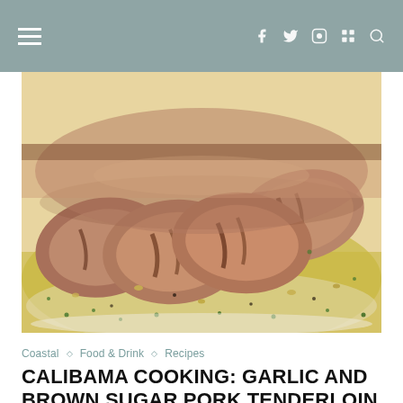Navigation header with hamburger menu and social icons (Facebook, Twitter, Instagram, Flickr, Search)
[Figure (photo): Close-up photo of sliced garlic and brown sugar pork tenderloin on a white plate with golden herb sauce and parsley garnish]
Coastal ◇ Food & Drink ◇ Recipes
CALIBAMA COOKING: GARLIC AND BROWN SUGAR PORK TENDERLOIN RECIPE